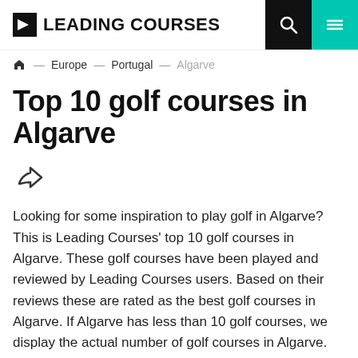LEADING COURSES
Home — Europe — Portugal — Algarve
Top 10 golf courses in Algarve
Looking for some inspiration to play golf in Algarve? This is Leading Courses' top 10 golf courses in Algarve. These golf courses have been played and reviewed by Leading Courses users. Based on their reviews these are rated as the best golf courses in Algarve. If Algarve has less than 10 golf courses, we display the actual number of golf courses in Algarve.
READ MORE